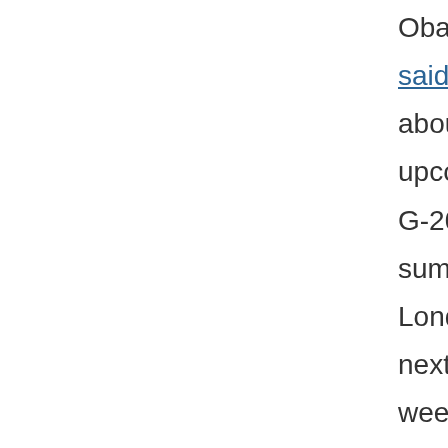Obama said this about the upcoming G-20 summit in London next week: "So the goal at the G-20 summ I think is to do a coup of thing